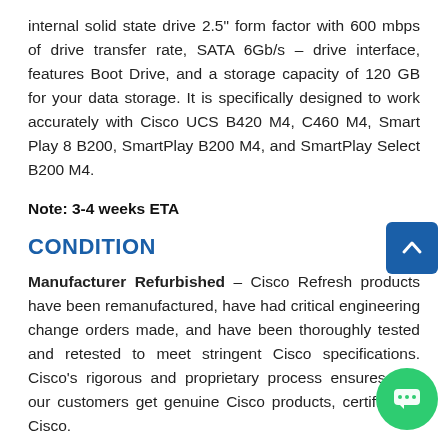internal solid state drive 2.5" form factor with 600 mbps of drive transfer rate, SATA 6Gb/s – drive interface, features Boot Drive, and a storage capacity of 120 GB for your data storage. It is specifically designed to work accurately with Cisco UCS B420 M4, C460 M4, Smart Play 8 B200, SmartPlay B200 M4, and SmartPlay Select B200 M4.
Note: 3-4 weeks ETA
CONDITION
Manufacturer Refurbished – Cisco Refresh products have been remanufactured, have had critical engineering change orders made, and have been thoroughly tested and retested to meet stringent Cisco specifications. Cisco's rigorous and proprietary process ensures that our customers get genuine Cisco products, certified by Cisco.
If you want to know more about Cisco Refresh